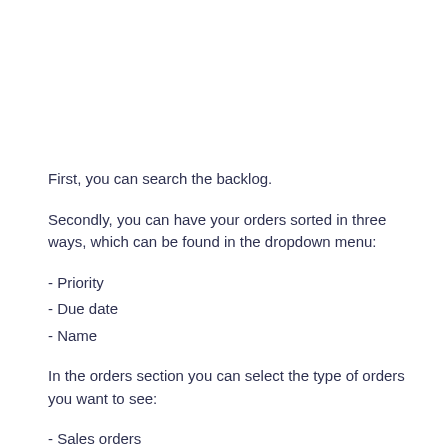First, you can search the backlog.
Secondly, you can have your orders sorted in three ways, which can be found in the dropdown menu:
- Priority
- Due date
- Name
In the orders section you can select the type of orders you want to see:
- Sales orders
- Purchase orders
- Production orders